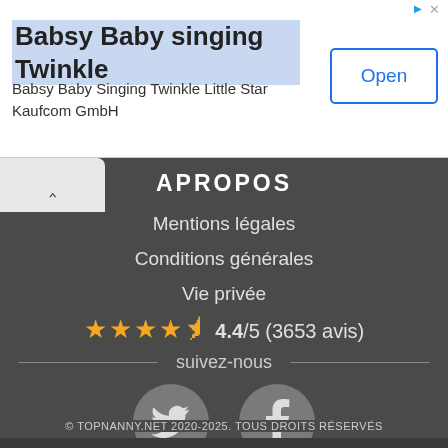[Figure (screenshot): Advertisement banner for Babsy Baby singing Twinkle app with Open button]
Babsy Baby singing Twinkle
Babsy Baby Singing Twinkle Little Star Kaufcom GmbH
APROPOS
Mentions légales
Conditions générales
Vie privée
★★★★☆ 4.4/5 (3653 avis)
suivez-nous
[Figure (illustration): Twitter bird icon in grey circle]
[Figure (illustration): Facebook f icon in grey circle]
© TOPNANNY.NET 2020-2025. TOUS DROITS RÉSERVÉS